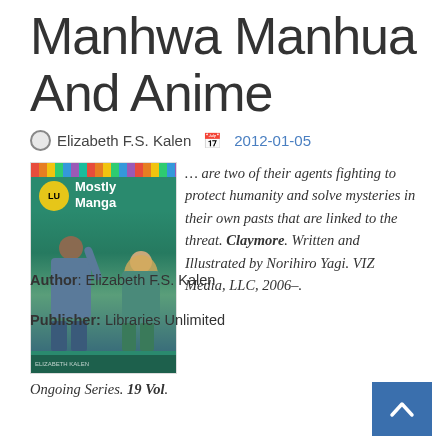Manhwa Manhua And Anime
Elizabeth F.S. Kalen   2012-01-05
[Figure (illustration): Book cover of 'Mostly Manga: A Genre Guide to Popular Manga, Manhwa, Manhua, and Anime' showing two anime-style characters against a teal background with colorful spine strips at top]
... are two of their agents fighting to protect humanity and solve mysteries in their own pasts that are linked to the threat. Claymore. Written and Illustrated by Norihiro Yagi. VIZ Media, LLC, 2006–. Ongoing Series. 19 Vol.
Author: Elizabeth F.S. Kalen
Publisher: Libraries Unlimited